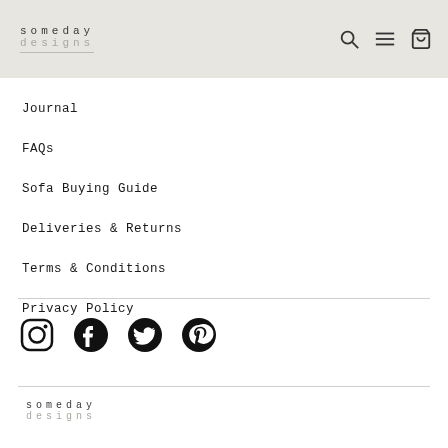someday designs
Journal
FAQs
Sofa Buying Guide
Deliveries & Returns
Terms & Conditions
Privacy Policy
[Figure (other): Social media icons: Instagram, Facebook, Twitter, Pinterest]
someday designs